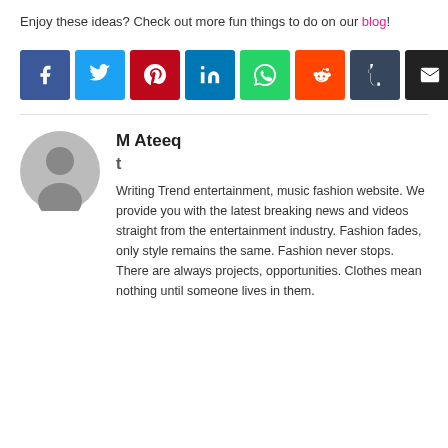Enjoy these ideas? Check out more fun things to do on our blog!
[Figure (infographic): Row of 8 social sharing buttons: Facebook (blue), Twitter (light blue), Pinterest (red), LinkedIn (teal), WhatsApp (green), Reddit (orange), Tumblr (dark blue-grey), Email (black)]
M Ateeq
t
Writing Trend entertainment, music fashion website. We provide you with the latest breaking news and videos straight from the entertainment industry. Fashion fades, only style remains the same. Fashion never stops. There are always projects, opportunities. Clothes mean nothing until someone lives in them.